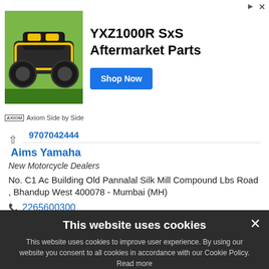[Figure (screenshot): Advertisement banner for YXZ1000R SxS Aftermarket Parts by Axiom Side by Side, with ATV image on left, bold text in center, and a blue 'Shop Now' button]
9707042444
Aims Yamaha
New Motorcycle Dealers
No. C1 Ac Building Old Pannalal Silk Mill Compound Lbs Road , Bhandup West 400078 - Mumbai (MH)
2265600300
Aims Yamaha
This website uses cookies
This website uses cookies to improve user experience. By using our website you consent to all cookies in accordance with our Cookie Policy. Read more
ACCEPT ALL
DECLINE ALL
SHOW DETAILS
POWERED BY COOKIE-SCRIPT